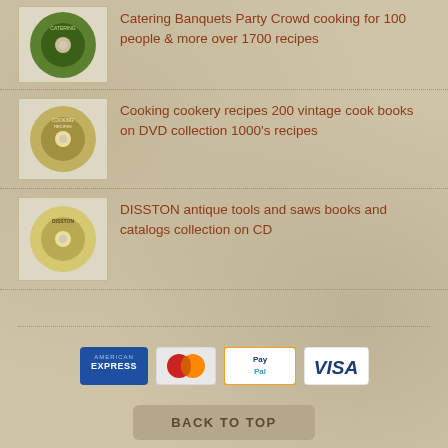Catering Banquets Party Crowd cooking for 100 people & more over 1700 recipes
Cooking cookery recipes 200 vintage cook books on DVD collection 1000's recipes
DISSTON antique tools and saws books and catalogs collection on CD
[Figure (infographic): Payment method badges: American Express, Mastercard, PayPal, Visa]
BACK TO TOP
Copyright © 2022 ebookscd. All Rights Reserved. Designed by John Rawsterne | Powered by Shopify